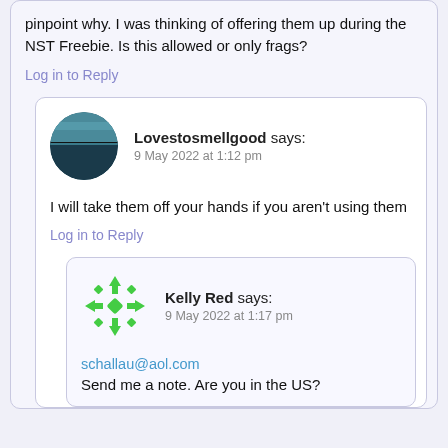pinpoint why. I was thinking of offering them up during the NST Freebie. Is this allowed or only frags?
Log in to Reply
Lovestosmellgood says:
9 May 2022 at 1:12 pm
[Figure (photo): Circular avatar photo showing a dark landscape with water and horizon.]
I will take them off your hands if you aren't using them
Log in to Reply
[Figure (logo): Green pixel/arrow logo for Kelly Red user avatar.]
Kelly Red says:
9 May 2022 at 1:17 pm
schallau@aol.com
Send me a note. Are you in the US?